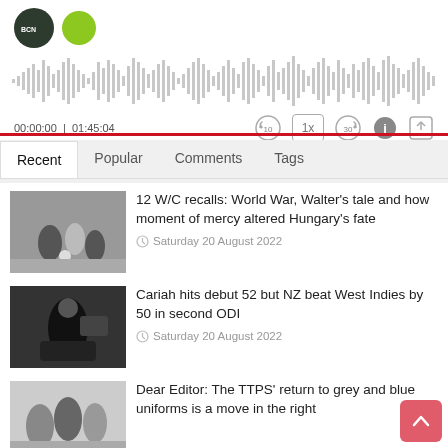[Figure (screenshot): Audio podcast player interface with waveform visualization, time display showing 00:00:00 | 01:45:04, and playback controls including skip back 10, 1x speed, skip forward 30, info and share buttons]
Recent | Popular | Comments | Tags (navigation tabs, Recent active)
[Figure (photo): Black and white football/soccer match photo showing players in action]
12 W/C recalls: World War, Walter's tale and how moment of mercy altered Hungary's fate
Saturday 20 August 2022
[Figure (photo): Photo of a cricket player in black uniform celebrating with bat raised]
Cariah hits debut 52 but NZ beat West Indies by 50 in second ODI
Saturday 20 August 2022
[Figure (photo): Photo of people in uniforms, partially visible]
Dear Editor: The TTPS' return to grey and blue uniforms is a move in the right direction